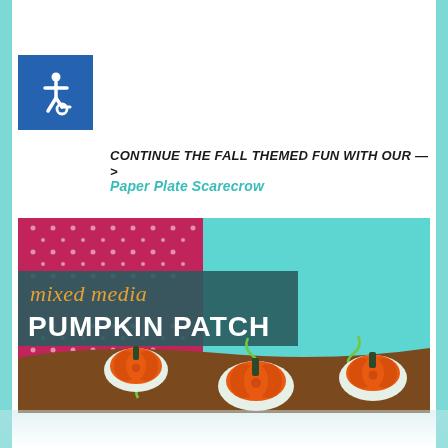[Figure (logo): Blue accessibility icon square with wheelchair symbol in white]
CONTINUE THE FALL THEMED FUN WITH OUR —>
Paper Plate Scarecrow
[Figure (photo): Mixed Media Pumpkin Patch craft project image showing orange pumpkins made from egg cartons with green curly vines on a mixed media background of crimson dotted fabric, teal paper, and brown dirt, with text overlay 'mixed media PUMPKIN PATCH']